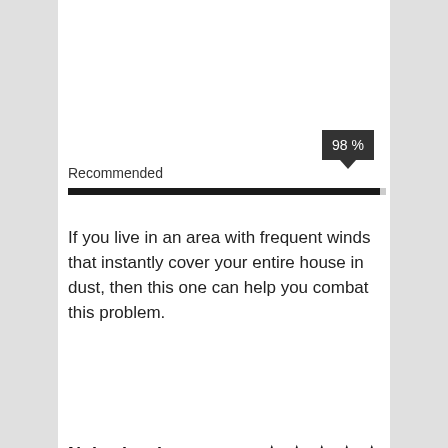Recommended
[Figure (infographic): Progress bar showing 98% recommended, with a dark tooltip badge showing '98 %' above the right end of the bar]
If you live in an area with frequent winds that instantly cover your entire house in dust, then this one can help you combat this problem.
Noise level: ★★★★★
Cookies are enabled to give you the best experience by remembering your preferences. You consent to ALL cookies by clicking "Accept".
Cookie settings
ACCEPT